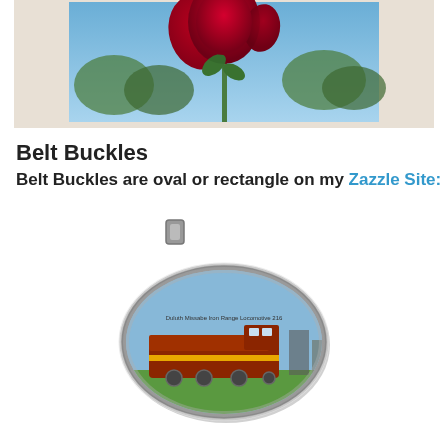[Figure (photo): Photo of red flowers (blooms and buds) against a blue sky with green trees in background, inside a light beige/cream mat border]
Belt Buckles
Belt Buckles are oval or rectangle on my Zazzle Site:
[Figure (photo): Oval silver belt buckle featuring a photo of a red locomotive/train on green fields with blue sky, text reading 'Duluth Missabe Iron Range Locomotive 216']